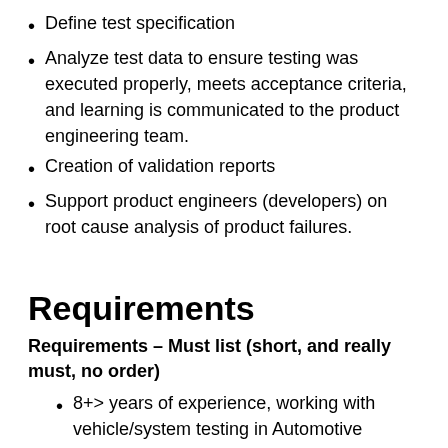Define test specification
Analyze test data to ensure testing was executed properly, meets acceptance criteria, and learning is communicated to the product engineering team.
Creation of validation reports
Support product engineers (developers) on root cause analysis of product failures.
Requirements
Requirements – Must list (short, and really must, no order)
8+> years of experience, working with vehicle/system testing in Automotive